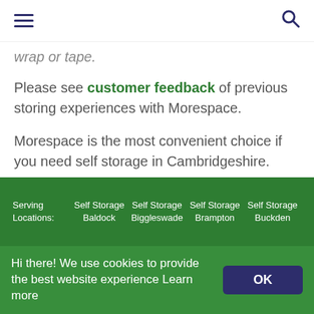[hamburger menu icon] [search icon]
wrap or tape.
Please see customer feedback of previous storing experiences with Morespace.
Morespace is the most convenient choice if you need self storage in Cambridgeshire.
Call us now on 01480 830130
Serving Locations: | Self Storage Baldock | Self Storage Biggleswade | Self Storage Brampton | Self Storage Buckden
Hi there! We use cookies to provide the best website experience Learn more OK